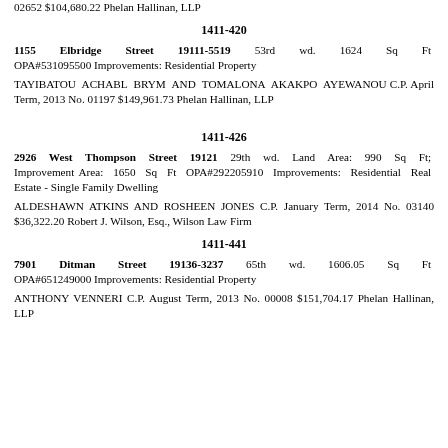02652 $104,680.22 Phelan Hallinan, LLP
1411-420
1155 Elbridge Street 19111-5519 53rd wd. 1624 Sq Ft OPA#531095500 Improvements: Residential Property
TAYIBATOU ACHABL BRYM AND TOMALONA AKAKPO AYEWANOU C.P. April Term, 2013 No. 01197 $149,961.73 Phelan Hallinan, LLP
1411-426
2926 West Thompson Street 19121 29th wd. Land Area: 990 Sq Ft; Improvement Area: 1650 Sq Ft OPA#292205910 Improvements: Residential Real Estate - Single Family Dwelling
ALDESHAWN ATKINS AND ROSHEEN JONES C.P. January Term, 2014 No. 03140 $36,322.20 Robert J. Wilson, Esq., Wilson Law Firm
1411-441
7901 Ditman Street 19136-3237 65th wd. 1606.05 Sq Ft OPA#651249000 Improvements: Residential Property
ANTHONY VENNERI C.P. August Term, 2013 No. 00008 $151,704.17 Phelan Hallinan, LLP